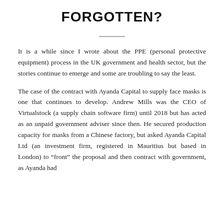FORGOTTEN?
It is a while since I wrote about the PPE (personal protective equipment) process in the UK government and health sector, but the stories continue to emerge and some are troubling to say the least.
The case of the contract with Ayanda Capital to supply face masks is one that continues to develop. Andrew Mills was the CEO of Virtualstock (a supply chain software firm) until 2018 but has acted as an unpaid government adviser since then. He secured production capacity for masks from a Chinese factory, but asked Ayanda Capital Ltd (an investment firm, registered in Mauritius but based in London) to “front” the proposal and then contract with government, as Ayanda had